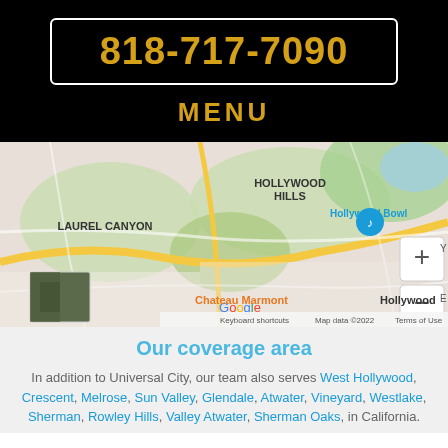818-717-7090
MENU
[Figure (map): Google Map showing Laurel Canyon, Hollywood Hills, Hollywood Bowl, Chateau Marmont area in Los Angeles. Map data ©2022. Shows zoom controls (+/-) and satellite thumbnail in bottom-left corner.]
Our coverage area
In addition to Universal City, our team also serves West Hollywood, Crescent, Melrose, Sun Valley, Glendale, Atwater, Vineyard, Westlake, Sherman, Rowley Hills, Valley Atwater, Sherman Oaks, in California.